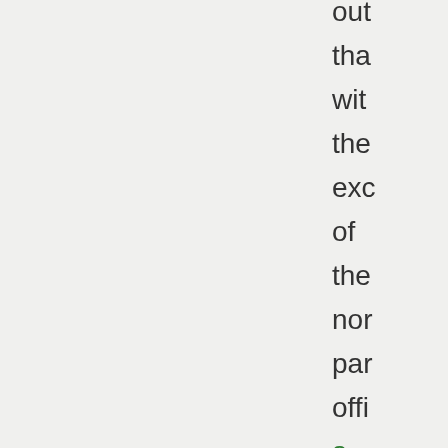out that with the exc of the nor par offi a form in nam onl the par of the nor par sta Su Co rac